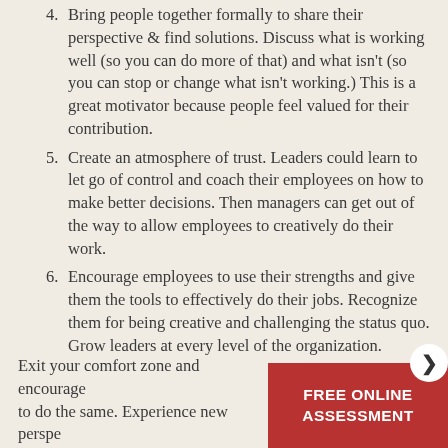4. Bring people together formally to share their perspective & find solutions. Discuss what is working well (so you can do more of that) and what isn't (so you can stop or change what isn't working.) This is a great motivator because people feel valued for their contribution.
5. Create an atmosphere of trust. Leaders could learn to let go of control and coach their employees on how to make better decisions. Then managers can get out of the way to allow employees to creatively do their work.
6. Encourage employees to use their strengths and give them the tools to effectively do their jobs. Recognize them for being creative and challenging the status quo. Grow leaders at every level of the organization.
Exit your comfort zone and encourage to do the same. Experience new perspe see how blind spots prevent your busin thriving.